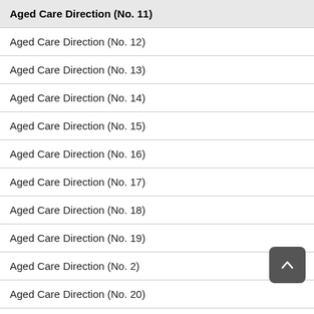Aged Care Direction (No. 11)
Aged Care Direction (No. 12)
Aged Care Direction (No. 13)
Aged Care Direction (No. 14)
Aged Care Direction (No. 15)
Aged Care Direction (No. 16)
Aged Care Direction (No. 17)
Aged Care Direction (No. 18)
Aged Care Direction (No. 19)
Aged Care Direction (No. 2)
Aged Care Direction (No. 20)